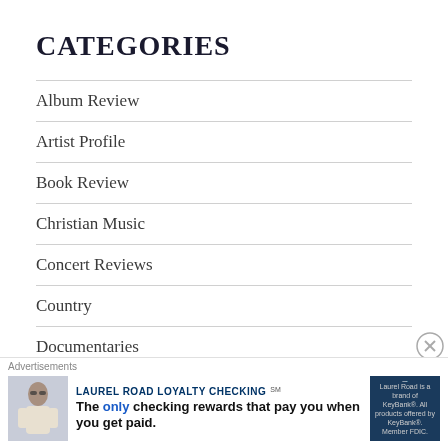Categories
Album Review
Artist Profile
Book Review
Christian Music
Concert Reviews
Country
Documentaries
Interviews
Advertisements
[Figure (other): Laurel Road Loyalty Checking advertisement banner: woman in sunglasses, text 'The only checking rewards that pay you when you get paid.' with Laurel Road logo.]